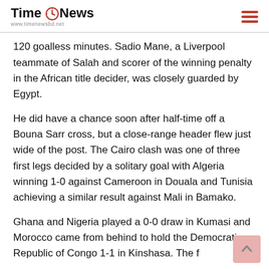Time News www.timenewsbd.net
120 goalless minutes. Sadio Mane, a Liverpool teammate of Salah and scorer of the winning penalty in the African title decider, was closely guarded by Egypt.
He did have a chance soon after half-time off a Bouna Sarr cross, but a close-range header flew just wide of the post. The Cairo clash was one of three first legs decided by a solitary goal with Algeria winning 1-0 against Cameroon in Douala and Tunisia achieving a similar result against Mali in Bamako.
Ghana and Nigeria played a 0-0 draw in Kumasi and Morocco came from behind to hold the Democratic Republic of Congo 1-1 in Kinshasa. The f...